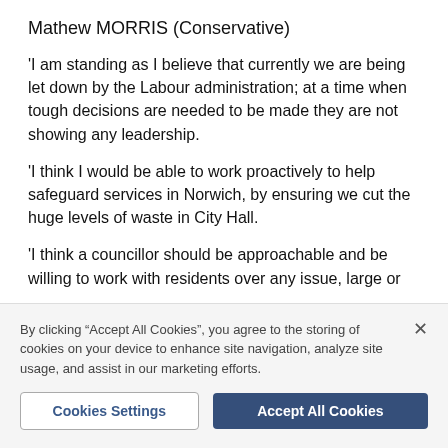Mathew MORRIS (Conservative)
'I am standing as I believe that currently we are being let down by the Labour administration; at a time when tough decisions are needed to be made they are not showing any leadership.
'I think I would be able to work proactively to help safeguard services in Norwich, by ensuring we cut the huge levels of waste in City Hall.
'I think a councillor should be approachable and be willing to work with residents over any issue, large or
By clicking "Accept All Cookies", you agree to the storing of cookies on your device to enhance site navigation, analyze site usage, and assist in our marketing efforts.